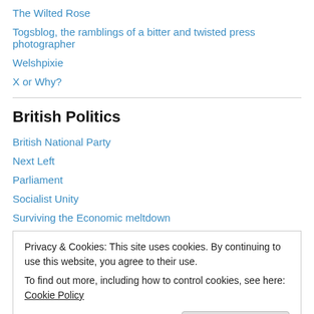The Wilted Rose
Togsblog, the ramblings of a bitter and twisted press photographer
Welshpixie
X or Why?
British Politics
British National Party
Next Left
Parliament
Socialist Unity
Surviving the Economic meltdown
Privacy & Cookies: This site uses cookies. By continuing to use this website, you agree to their use. To find out more, including how to control cookies, see here: Cookie Policy
The Liberal Party